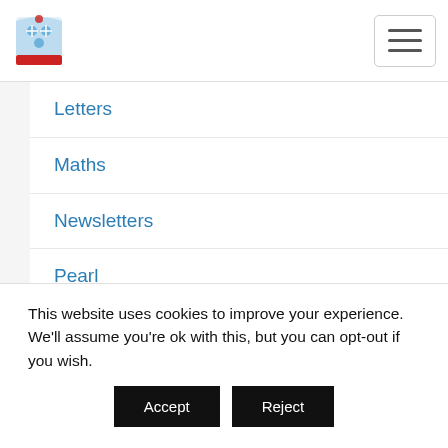School navigation header with logo and menu button
Letters
Maths
Newsletters
Pearl
Pre – School
Quartz
Reception
Ruby
Sapphire
This website uses cookies to improve your experience. We'll assume you're ok with this, but you can opt-out if you wish.
Accept  Reject